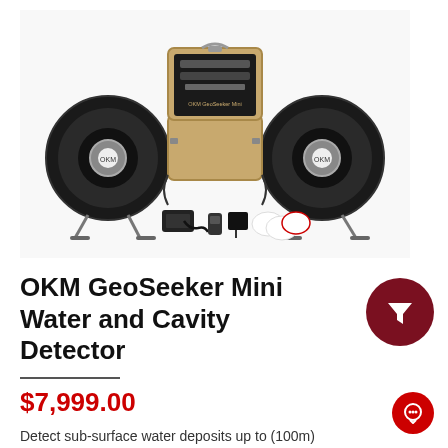[Figure (photo): OKM GeoSeeker Mini product photo showing two large circular sensor coils on stands, a tan hard case open in the center revealing the electronics, and accessories including cables, a remote, and white disc components arranged on white background.]
OKM GeoSeeker Mini Water and Cavity Detector
$7,999.00
Detect sub-surface water deposits up to (100m) with the geoelectrical measurement tool of this